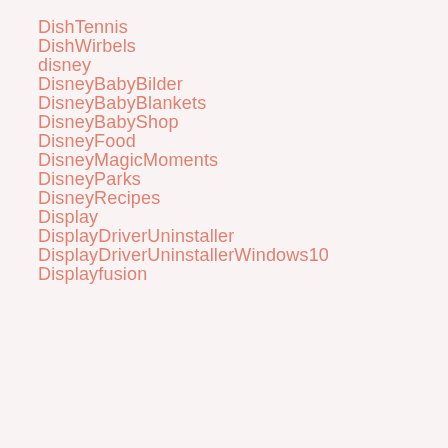DishTennis
DishWirbels
disney
DisneyBabyBilder
DisneyBabyBlankets
DisneyBabyShop
DisneyFood
DisneyMagicMoments
DisneyParks
DisneyRecipes
Display
DisplayDriverUninstaller
DisplayDriverUninstallerWindows10
Displayfusion